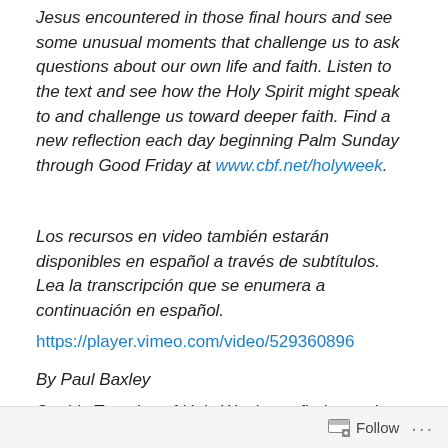Jesus encountered in those final hours and see some unusual moments that challenge us to ask questions about our own life and faith. Listen to the text and see how the Holy Spirit might speak to and challenge us toward deeper faith. Find a new reflection each day beginning Palm Sunday through Good Friday at www.cbf.net/holyweek.
Los recursos en video también estarán disponibles en español a través de subtítulos. Lea la transcripción que se enumera a continuación en español.
https://player.vimeo.com/video/529360896
By Paul Baxley
On this Tuesday of Holy Week, we find ourselves in the
Follow